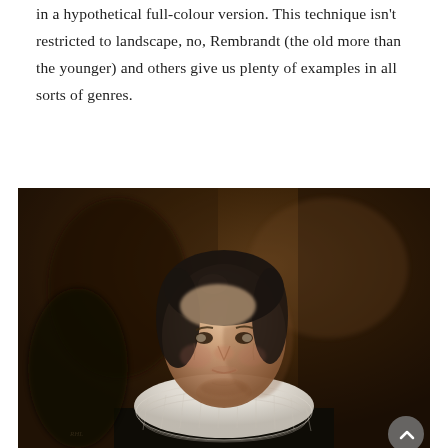in a hypothetical full-colour version. This technique isn't restricted to landscape, no, Rembrandt (the old more than the younger) and others give us plenty of examples in all sorts of genres.
[Figure (photo): A Rembrandt portrait painting of an elderly woman with a white ruffled collar against a dark brown background. The woman has dark hair and aged facial features. The painting uses chiaroscuro technique with dramatic light and shadow.]